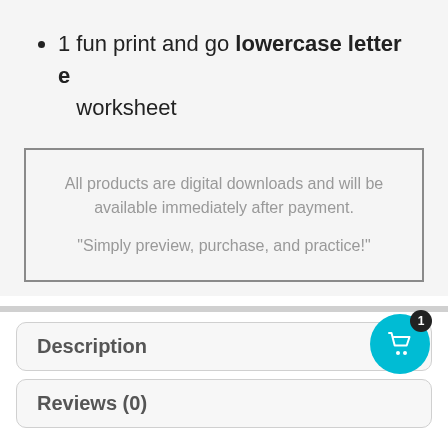1 fun print and go lowercase letter e worksheet
All products are digital downloads and will be available immediately after payment.

“Simply preview, purchase, and practice!”
Description
Reviews (0)